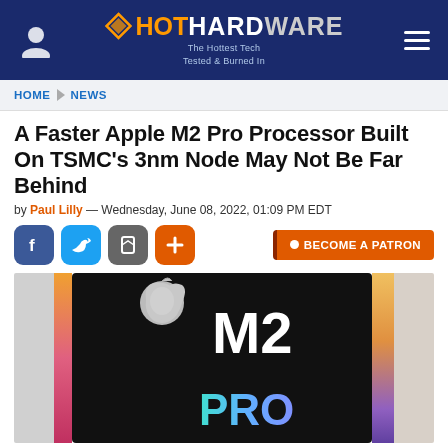HotHardware — The Hottest Tech Tested & Burned In
HOME > NEWS
A Faster Apple M2 Pro Processor Built On TSMC's 3nm Node May Not Be Far Behind
by Paul Lilly — Wednesday, June 08, 2022, 01:09 PM EDT
[Figure (screenshot): Social share buttons: Facebook, Twitter, Save, Plus. Patron button: BECOME A PATRON]
[Figure (photo): Apple M2 Pro chip rendering on dark background with colorful gradient sides, Apple logo and M2 PRO text visible]